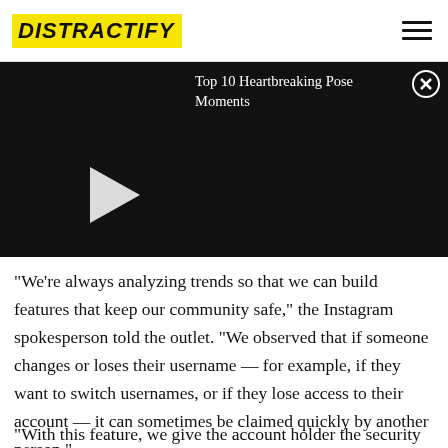DISTRACTIFY
[Figure (screenshot): Video player with black background showing play button. Title text reads 'Top 10 Heartbreaking Pose Moments' with close (X) button in top right corner.]
"We're always analyzing trends so that we can build features that keep our community safe," the Instagram spokesperson told the outlet. "We observed that if someone changes or loses their username — for example, if they want to switch usernames, or if they lose access to their account — it can sometimes be claimed quickly by another person."
"With this feature, we give the account holder the security of knowing their username is safe for a period of